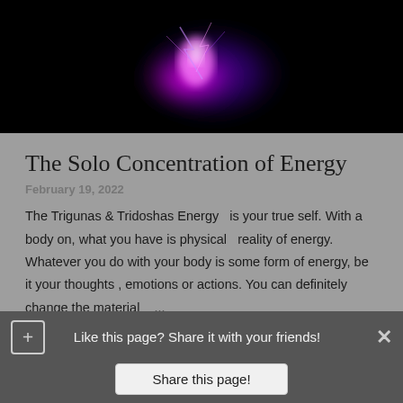[Figure (photo): Dark background with purple and pink energy/plasma effect glowing in the center]
The Solo Concentration of Energy
February 19, 2022
The Trigunas & Tridoshas Energy  is your true self. With a body on, what you have is physical  reality of energy. Whatever you do with your body is some form of energy, be it your thoughts , emotions or actions. You can definitely change the material ...
POST A COMMENT
READ MORE
Like this page? Share it with your friends!
Share this page!